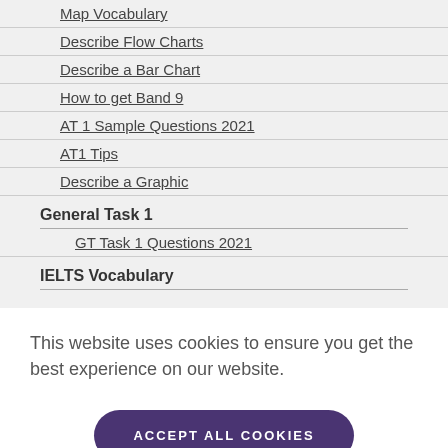Map Vocabulary
Describe Flow Charts
Describe a Bar Chart
How to get Band 9
AT 1 Sample Questions 2021
AT1 Tips
Describe a Graphic
General Task 1
GT Task 1 Questions 2021
IELTS Vocabulary
This website uses cookies to ensure you get the best experience on our website.
ACCEPT ALL COOKIES
Cookie Settings